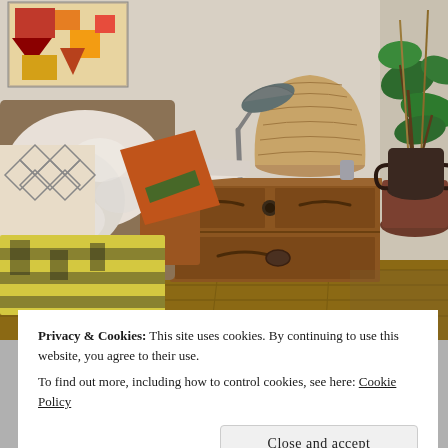[Figure (photo): Interior room photo showing a wooden dresser/chest of drawers with metal hardware, a green desk lamp, a large woven vase, a potted plant, a dark ceramic pot, a fluffy sheepskin throw, colorful cushions and blankets on a sofa, and colorful abstract artwork on the wall. Hardwood floor visible.]
Privacy & Cookies: This site uses cookies. By continuing to use this website, you agree to their use.
To find out more, including how to control cookies, see here: Cookie Policy
Close and accept